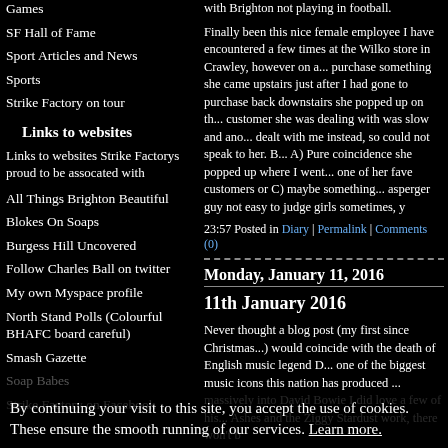Games
SF Hall of Fame
Sport Articles and News
Sports
Strike Factory on tour
Links to websites
Links to websites Strike Factorys proud to be assocated with
All Things Brighton Beautiful
Blokes On Soaps
Burgess Hill Uncovered
Follow Charles Ball on twitter
My own Myspace profile
North Stand Polls (Colourful BHAFC board careful)
Smash Gazette
Soap Babes
Strike Factory on Facebook
with Brighton not playing in football.
Finally been this nice female employee I have encountered a few times at the Wilko store in Crawley, however on a previous visit to purchase something she came upstairs just after I had gone downstairs to purchase back downstairs she popped up on the till however the customer she was dealing with was slow and another member of staff dealt with me instead, so could not speak to her. But could be A) Pure coincidence she popped up where I went B) she considers me one of her fave customers or C) maybe something more but being an asperger guy not easy to judge girls sometimes, y
23:57 Posted in Diary | Permalink | Comments (0)
Monday, January 11, 2016
11th January 2016
Never thought a blog post (my first since Christmas) would coincide with the death of English music legend D... one of the biggest music icons this nation has produced ... not massively into David Bowie I did love a few of his songs like Ashes and the Ziggy Stardust work, there won't b
It has been a slightly busy first 2 weeks of 2016 fo... birthday celebrations. On New Years Day I marke... friends at The Amex seeing the Albion narrowly lo... before being presented with a Ball-30 Albion shirt... half time and after the match had some post mat...
By continuing your visit to this site, you accept the use of cookies. These ensure the smooth running of our services. Learn more.